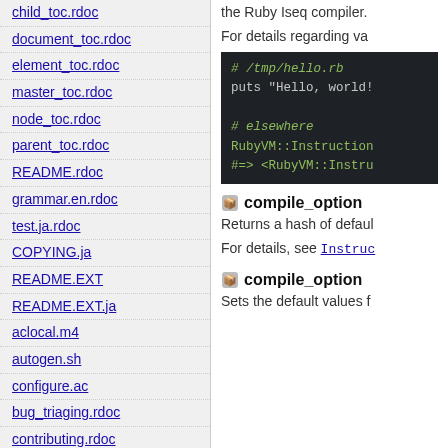child_toc.rdoc
document_toc.rdoc
element_toc.rdoc
master_toc.rdoc
node_toc.rdoc
parent_toc.rdoc
README.rdoc
grammar.en.rdoc
test.ja.rdoc
COPYING.ja
README.EXT
README.EXT.ja
aclocal.m4
autogen.sh
configure.ac
bug_triaging.rdoc
contributing.rdoc
io.rdoc
col_sep.rdoc
quote_char.rdoc
row_sep.rdoc
the Ruby Iseq compiler.
For details regarding va
[Figure (screenshot): Code block showing Ruby example: # /tmp/hello.rb, puts "Hello, world!", # elsewhere, RubyVM::Instruction, #=> <RubyVM::Instru]
compile_option
Returns a hash of defaul
For details, see Instruc
compile_option
Sets the default values f